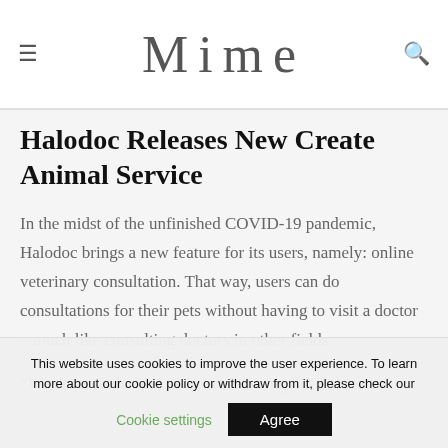Mime
Halodoc Releases New Create Animal Service
In the midst of the unfinished COVID-19 pandemic, Halodoc brings a new feature for its users, namely: online veterinary consultation. That way, users can do consultations for their pets without having to visit a doctor – much like consulting doctors in other fields.
“We observe that pet owners are facing difficulties in
This website uses cookies to improve the user experience. To learn more about our cookie policy or withdraw from it, please check our Cookie settings Agree